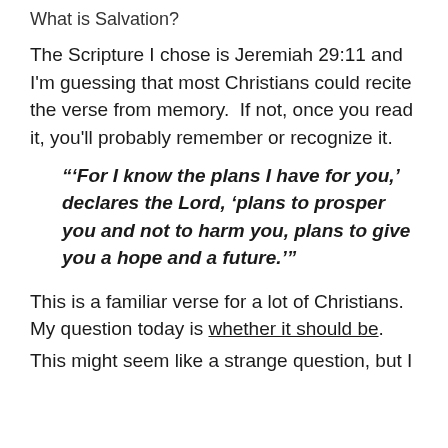What is Salvation?
The Scripture I chose is Jeremiah 29:11 and I'm guessing that most Christians could recite the verse from memory.  If not, once you read it, you'll probably remember or recognize it.
“’For I know the plans I have for you,’ declares the Lord, ‘plans to prosper you and not to harm you, plans to give you a hope and a future.’”
This is a familiar verse for a lot of Christians.  My question today is whether it should be.
This might seem like a strange question, but I